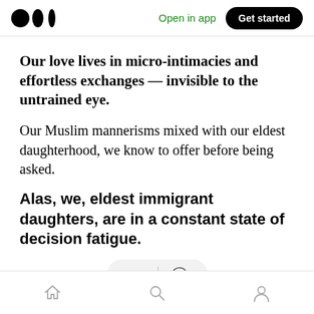Open in app | Get started
Our love lives in micro-intimacies and effortless exchanges — invisible to the untrained eye.
Our Muslim mannerisms mixed with our eldest daughterhood, we know to offer before being asked.
Alas, we, eldest immigrant daughters, are in a constant state of decision fatigue.
[Figure (other): Reaction bar with clapping hands emoji icon and speech bubble icon separated by a vertical divider]
Bottom navigation bar with home, search, and profile icons